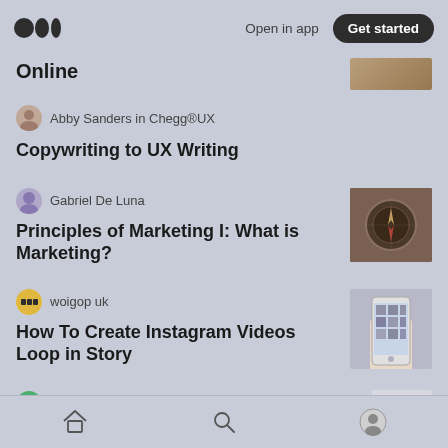Medium logo | Open in app | Get started
Online
Abby Sanders in Chegg®UX
Copywriting to UX Writing
Gabriel De Luna
Principles of Marketing I: What is Marketing?
[Figure (photo): Compass thumbnail image]
woigop uk
How To Create Instagram Videos Loop in Story
[Figure (photo): Hand holding phone with Instagram open]
Home | Search | Profile navigation icons